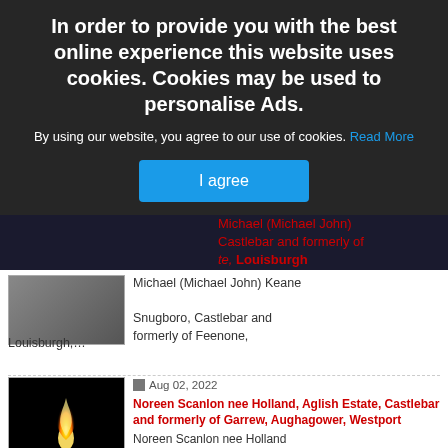In order to provide you with the best online experience this website uses cookies. Cookies may be used to personalise Ads.
By using our website, you agree to our use of cookies. Read More
I agree
Michael (Michael John) Keane
Snugboro, Castlebar and formerly of Feenone, Louisburgh,...
Aug 02, 2022
Noreen Scanlon nee Holland, Aglish Estate, Castlebar and formerly of Garrew, Aughagower, Westport
Noreen Scanlon nee Holland
Aglish Estate, Castlebar and formerly of Garrew,